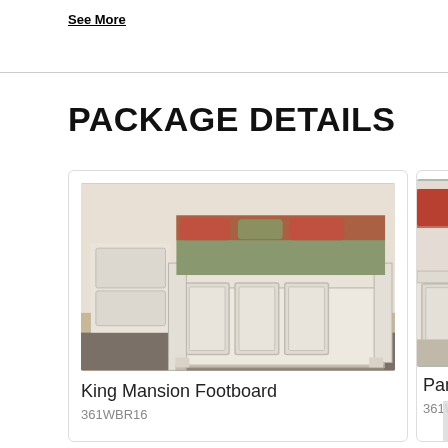See More
PACKAGE DETAILS
[Figure (photo): White distressed wood King Mansion Footboard with raised panel detailing, shown in a bedroom setting with pillows and rug]
King Mansion Footboard
361WBR16
[Figure (photo): Partial view of a white distressed wood panel bed, cropped on the right side of the page]
Panel
361WBR90